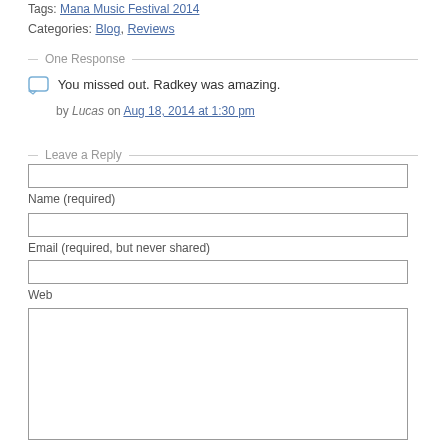Tags: Mana Music Festival 2014
Categories: Blog, Reviews
One Response
You missed out. Radkey was amazing.
by Lucas on Aug 18, 2014 at 1:30 pm
Leave a Reply
Name (required)
Email (required, but never shared)
Web